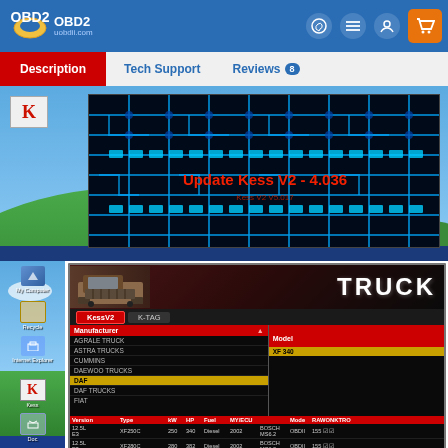OBD2 uobdii.com
Description | Tech Support | Reviews 8
[Figure (screenshot): Windows XP desktop screenshot showing circuit board image with text 'Update Kess V2 - 4.036' overlaid in red]
[Figure (screenshot): Windows XP desktop showing TRUCK software interface with KessV2/K-TAG tabs. Manufacturer list includes: AGRALE TRUCK, ASTRA TRUCKS, CUMMINS, DAEWOO TRUCKS, DAF (selected/highlighted), DAF TRUCKS, FIAT. Model panel on right. Data table at bottom showing versions 12.5L E3 with XF250C (250kW, 340hp, Diesel, 2002, BOSCH MS6.2, OBDII, 155), XF280C (280kW, 382hp, Diesel, 2002, BOSCH MS6.2, OBDII, 155), XF315C highlighted in red (315kW, 430hp, Diesel, 2002, BOSCH MS6.2, OBDII, 155)]